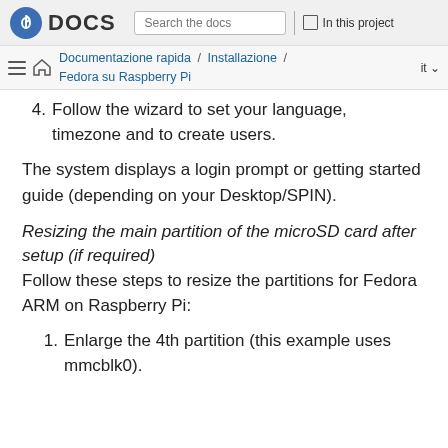Fedora DOCS | Search the docs | In this project
Documentazione rapida / Installazione / Fedora su Raspberry Pi | it
4. Follow the wizard to set your language, timezone and to create users.
The system displays a login prompt or getting started guide (depending on your Desktop/SPIN).
Resizing the main partition of the microSD card after setup (if required)
Follow these steps to resize the partitions for Fedora ARM on Raspberry Pi:
1. Enlarge the 4th partition (this example uses mmcblk0).